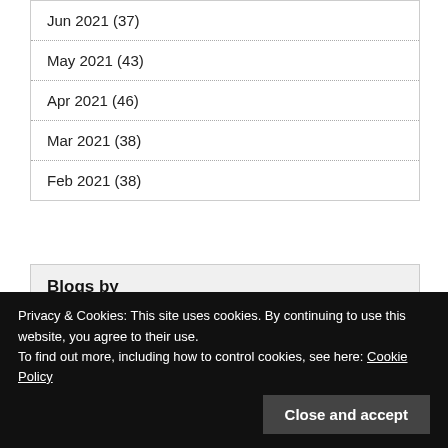Jun 2021 (37)
May 2021 (43)
Apr 2021 (46)
Mar 2021 (38)
Feb 2021 (38)
Blogs by
Rob's Blog (336)
single mummy H (15)
Privacy & Cookies: This site uses cookies. By continuing to use this website, you agree to their use.
To find out more, including how to control cookies, see here: Cookie Policy
Close and accept